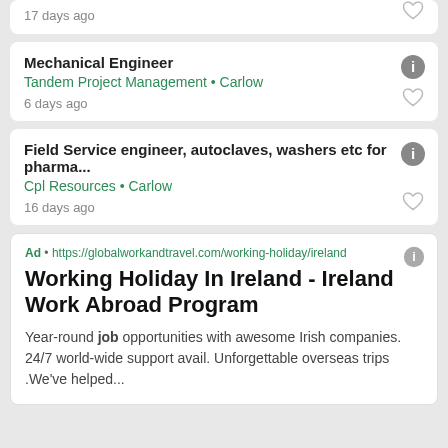17 days ago
Mechanical Engineer
Tandem Project Management • Carlow
6 days ago
Field Service engineer, autoclaves, washers etc for pharma...
Cpl Resources • Carlow
16 days ago
Ad • https://globalworkandtravel.com/working-holiday/ireland
Working Holiday In Ireland - Ireland Work Abroad Program
Year-round job opportunities with awesome Irish companies. 24/7 world-wide support avail. Unforgettable overseas trips .We've helped...